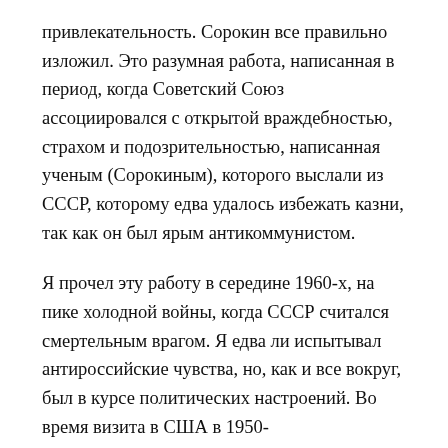привлекательность. Сорокин все правильно изложил. Это разумная работа, написанная в период, когда Советский Союз ассоциировался с открытой враждебностью, страхом и подозрительностью, написанная ученым (Сорокиным), которого выслали из СССР, которому едва удалось избежать казни, так как он был ярым антикоммунистом.
Я прочел эту работу в середине 1960-х, на пике холодной войны, когда СССР считался смертельным врагом. Я едва ли испытывал антироссийские чувства, но, как и все вокруг, был в курсе политических настроений. Во время визита в США в 1950-